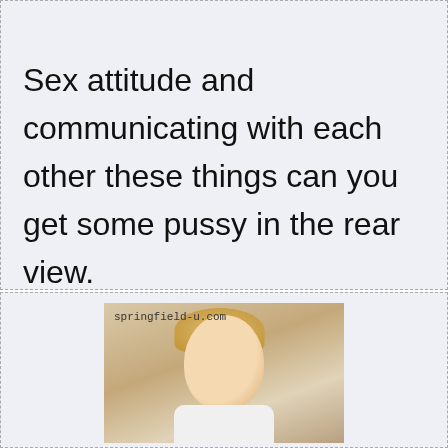Sex attitude and communicating with each other these things can you get some pussy in the rear view.
[Figure (photo): Photo of a young blonde woman with a watermark reading 'springfield-u.com']